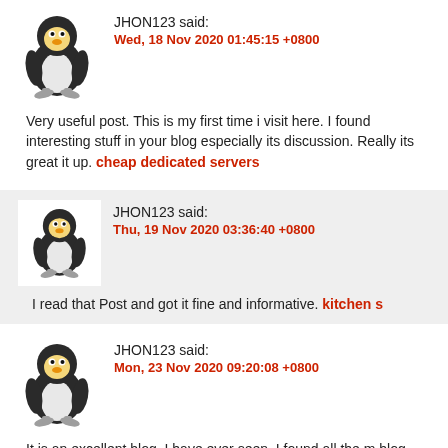JHON123 said:
Wed, 18 Nov 2020 01:45:15 +0800
Very useful post. This is my first time i visit here. I found interesting stuff in your blog especially its discussion. Really its great it up. cheap dedicated servers
JHON123 said:
Thu, 19 Nov 2020 03:36:40 +0800
I read that Post and got it fine and informative. kitchen s
JHON123 said:
Mon, 23 Nov 2020 09:20:08 +0800
It is an excellent blog, I have ever seen. I found all the m blog utmost unique and well written. And, I have decided to visit it ag again. webdesign & development